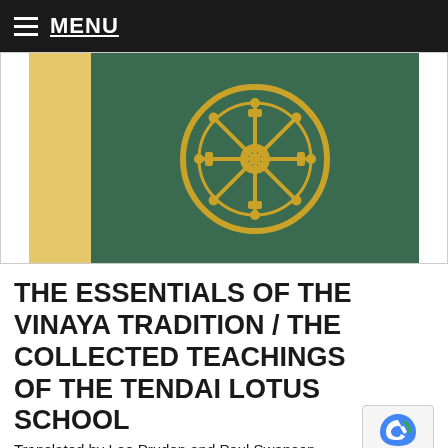MENU
[Figure (photo): Book cover with green background and gold dharma wheel (dharmachakra) emblem, with a yellow/gold vertical stripe on the left spine area.]
THE ESSENTIALS OF THE VINAYA TRADITION / THE COLLECTED TEACHINGS OF THE TENDAI LOTUS SCHOOL
Translated by Leo Pruden and Paul Swanson